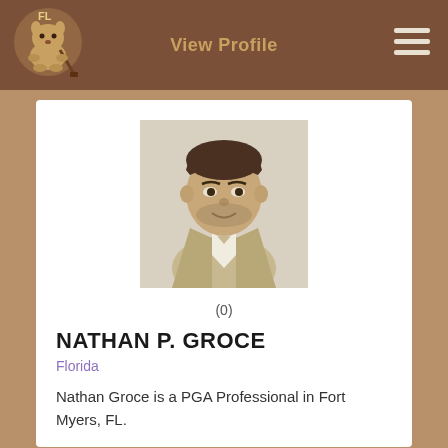View Profile
[Figure (logo): FL Gopher mascot logo — a gopher holding a golf club]
[Figure (photo): Headshot of Nathan P. Groce, a man in a light-colored jacket]
(0)
NATHAN P. GROCE
Florida
Nathan Groce is a PGA Professional in Fort Myers, FL.